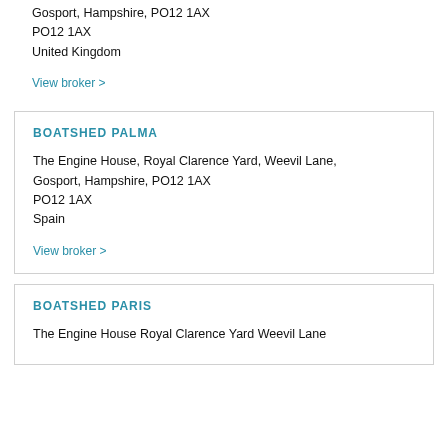Gosport, Hampshire, PO12 1AX
PO12 1AX
United Kingdom
View broker >
BOATSHED PALMA
The Engine House, Royal Clarence Yard, Weevil Lane, Gosport, Hampshire, PO12 1AX
PO12 1AX
Spain
View broker >
BOATSHED PARIS
The Engine House Royal Clarence Yard Weevil Lane